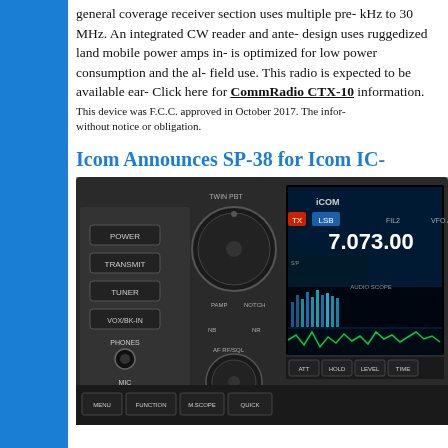general coverage receiver section uses multiple pre- kHz to 30 MHz. An integrated CW reader and ante- design uses ruggedized land mobile power amps in- is optimized for low power consumption and the al- field use. This radio is expected to be available ear- Click here for CommRadio CTX-10 information.
This device was F.C.C. approved in October 2017. The infor- without notice or obligation.
Icom Announces SP-38 for Icom IC-
[Figure (photo): Photo of an Icom HF transceiver radio front panel showing controls including POWER, TRANSMIT, TUNER, VOX/BK-IN, PHONES, MIC buttons, TWIN PBT knob, PAMP, NOTCH, NB, NR controls, AF/RF/SQL knob, and a display showing 7.073.00 MHz in LSB mode with spectrum and audio scope displays. Bottom buttons include ATT, HOLD, LEVEL, TIME, MENU, FUNCTION, M.SCOPE, QUICK.]